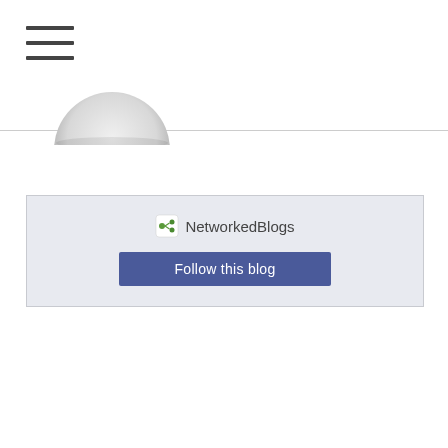[Figure (other): Hamburger menu icon with three horizontal lines]
[Figure (other): Partial circular profile image, cropped at top]
[Figure (other): NetworkedBlogs widget panel with logo and Follow this blog button]